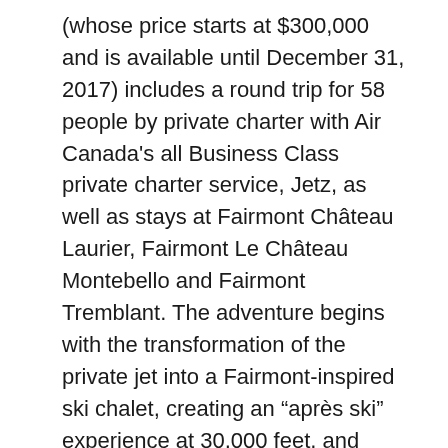(whose price starts at $300,000 and is available until December 31, 2017) includes a round trip for 58 people by private charter with Air Canada's all Business Class private charter service, Jetz, as well as stays at Fairmont Château Laurier, Fairmont Le Château Montebello and Fairmont Tremblant. The adventure begins with the transformation of the private jet into a Fairmont-inspired ski chalet, creating an “après ski” experience at 30,000 feet, and continues once wheels touch down in Canada.
Each Fairmont destination offers several activities, including dog sledding, ice skating, snowmobiling, ice fishing, horse-drawn sleigh rides, skiing,and curling. To highlight Fairmont's traditional Canadian heritage, inspired cuisine from notable Canadian chefs Louis Simard, Tim Wasylko, and Éric Beaupré is featured at each respective stop on the journey. Guests will also be able to enjoy pool and spa treatments Fairmont Le